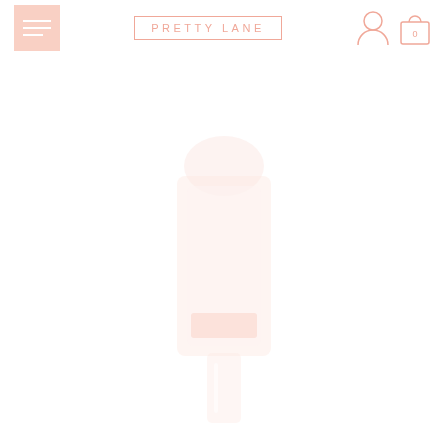PRETTY LANE
[Figure (photo): Faded/very light product image showing what appears to be a skincare or beauty product bottle, centered on the page below the header]